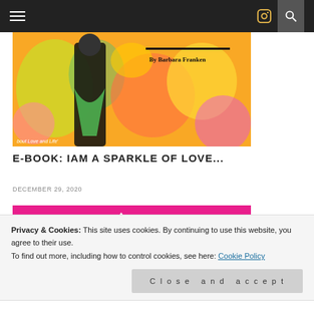Navigation bar with hamburger menu, Instagram icon, and search icon
[Figure (photo): Book cover image for 'IAM A Sparkle of Love' by Barbara Franken, colorful artwork with figure in green dress against bright yellow/orange background]
E-BOOK: IAM A SPARKLE OF LOVE...
DECEMBER 29, 2020
[Figure (illustration): Pink background illustration with white triangle/arrow shape, text 'Love & Trust Self', 'Understand & Accept All...']
Privacy & Cookies: This site uses cookies. By continuing to use this website, you agree to their use.
To find out more, including how to control cookies, see here: Cookie Policy
Close and accept